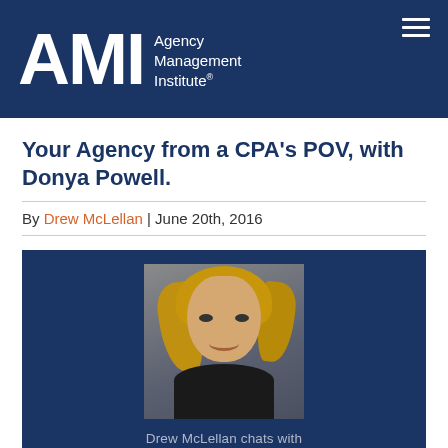AMI Agency Management Institute
Your Agency from a CPA's POV, with Donya Powell.
By Drew McLellan | June 20th, 2016
[Figure (infographic): Podcast episode card on dark navy background showing a photo of Donya Powell (blonde woman smiling), text 'Drew McLellan chats with', large text 'Donya Powell', and a circular play/options button with three dots below.]